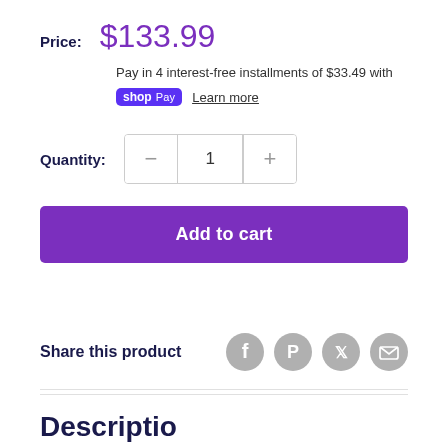Price: $133.99
Pay in 4 interest-free installments of $33.49 with
shop Pay  Learn more
Quantity: 1
Add to cart
Share this product
Description